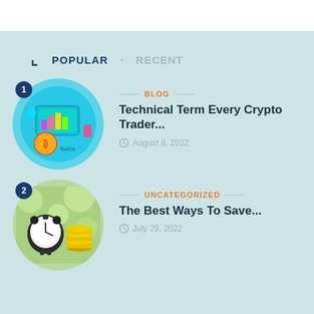POPULAR · RECENT
[Figure (illustration): Circular thumbnail showing crypto trading interface with Bitcoin coin and colorful screen, numbered badge 1]
BLOG
Technical Term Every Crypto Trader...
August 8, 2022
[Figure (illustration): Circular thumbnail showing alarm clock and stacked coins on green bokeh background, numbered badge 2]
UNCATEGORIZED
The Best Ways To Save...
July 29, 2022